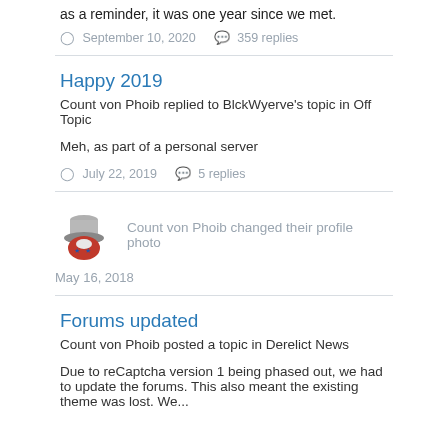as a reminder, it was one year since we met.
September 10, 2020   359 replies
Happy 2019
Count von Phoib replied to BlckWyerve's topic in Off Topic
Meh, as part of a personal server
July 22, 2019   5 replies
Count von Phoib changed their profile photo
May 16, 2018
Forums updated
Count von Phoib posted a topic in Derelict News
Due to reCaptcha version 1 being phased out, we had to update the forums. This also meant the existing theme was lost. We...